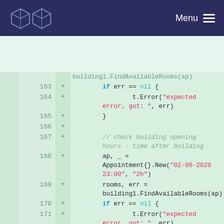Menu
[Figure (screenshot): Code diff view showing Go test code lines 163-175 with added lines (+ prefix) on green background. Lines include error checking with t.Error, building opening hours comments, Appointment creation with date strings, and FindAvailableRooms calls.]